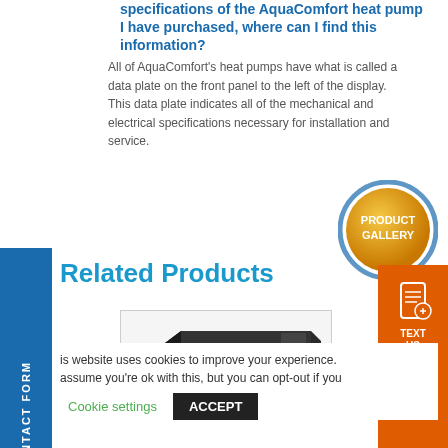specifications of the AquaComfort heat pump I have purchased, where can I find this information?
All of AquaComfort's heat pumps have what is called a data plate on the front panel to the left of the display. This data plate indicates all of the mechanical and electrical specifications necessary for installation and service.
[Figure (illustration): Product Gallery circular button - gold/orange circle with blue ring border, white text reading PRODUCT GALLERY]
Related Products
[Figure (photo): Dark colored flat heat pump unit product photo inside a white bordered rectangle]
FAST CONTACT FORM
[Figure (illustration): TEXT US orange button with phone/document icon]
is website uses cookies to improve your experience. assume you're ok with this, but you can opt-out if you
Cookie settings   ACCEPT